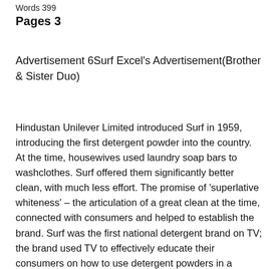Words 399
Pages 3
Advertisement 6Surf Excel's Advertisement(Brother & Sister Duo)
Hindustan Unilever Limited introduced Surf in 1959, introducing the first detergent powder into the country. At the time, housewives used laundry soap bars to washclothes. Surf offered them significantly better clean, with much less effort. The promise of ‘superlative whiteness’ – the articulation of a great clean at the time, connected with consumers and helped to establish the brand. Surf was the first national detergent brand on TV; the brand used TV to effectively educate their consumers on how to use detergent powders in a bucket for a better wash. Surf Excel made a big impact with their “Daag Acche Hain” philosophy, encouraging a